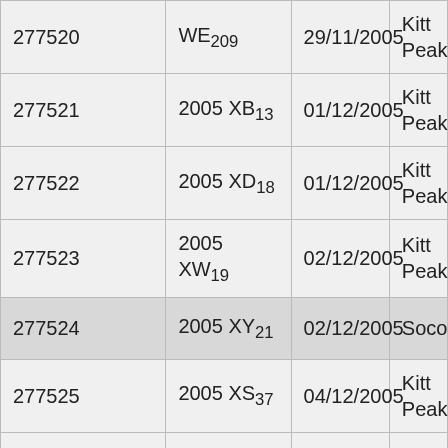| 277520 | WE209 | 29/11/2005 | Kitt Peak |
| 277521 | 2005 XB13 | 01/12/2005 | Kitt Peak |
| 277522 | 2005 XD18 | 01/12/2005 | Kitt Peak |
| 277523 | 2005 XW19 | 02/12/2005 | Kitt Peak |
| 277524 | 2005 XY21 | 02/12/2005 | Socorro |
| 277525 | 2005 XS37 | 04/12/2005 | Kitt Peak |
| 277526 | 2005 XU47 | 02/12/2005 | Kitt Peak |
| 277527 | 2005 XF52 | 02/12/2005 | Kitt Peak |